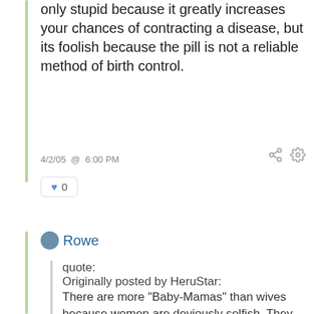only stupid because it greatly increases your chances of contracting a disease, but its foolish because the pill is not a reliable method of birth control.
4/2/05  @  6:00 PM
♥ 0
Rowe
quote:
Originally posted by HeruStar:
There are more "Baby-Mamas" than wives because women are deviously selfish. They make the "self-less" acts of childbearing become there haven for love and comfort.